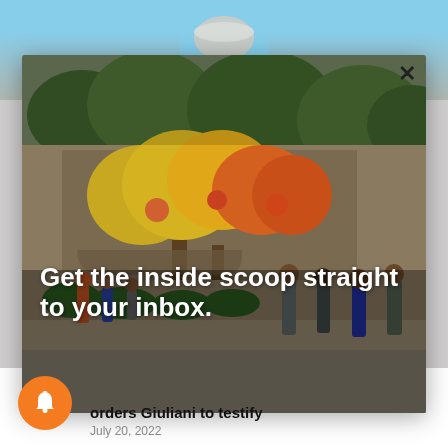[Figure (screenshot): A news website screenshot showing a modal popup overlay on top of a photo of people outside a building with a mural. The modal contains a newsletter signup prompt.]
Get the inside scoop straight to your inbox.
orders Giuliani to testify
July 20, 2022